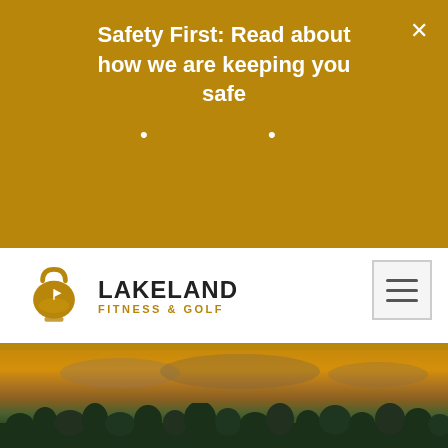[Figure (screenshot): Golden/brown banner notification with safety message and navigation bar for Lakeland Fitness & Golf website]
Safety First: Read about how we are keeping you safe
[Figure (logo): Lakeland Fitness & Golf logo with kettlebell/golf icon]
[Figure (photo): Sunset landscape photo showing golden sky with clouds and tree silhouettes]